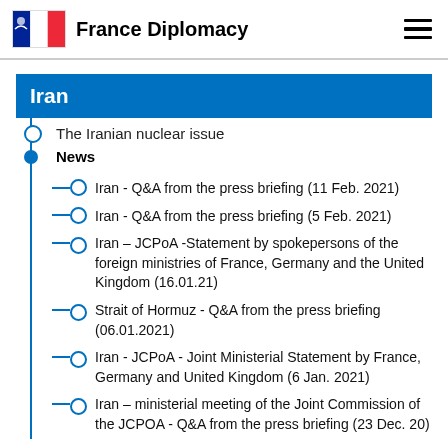France Diplomacy
Iran
The Iranian nuclear issue
News
Iran - Q&A from the press briefing (11 Feb. 2021)
Iran - Q&A from the press briefing (5 Feb. 2021)
Iran – JCPoA -Statement by spokepersons of the foreign ministries of France, Germany and the United Kingdom (16.01.21)
Strait of Hormuz - Q&A from the press briefing (06.01.2021)
Iran - JCPoA - Joint Ministerial Statement by France, Germany and United Kingdom (6 Jan. 2021)
Iran – ministerial meeting of the Joint Commission of the JCPOA - Q&A from the press briefing (23 Dec. 20)